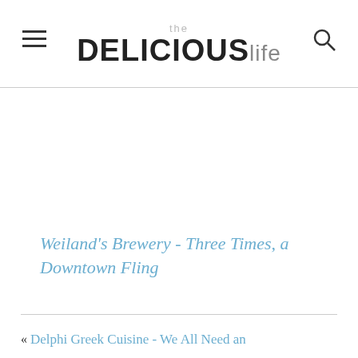the DELICIOUSlife
Weiland's Brewery - Three Times, a Downtown Fling
« Delphi Greek Cuisine - We All Need an